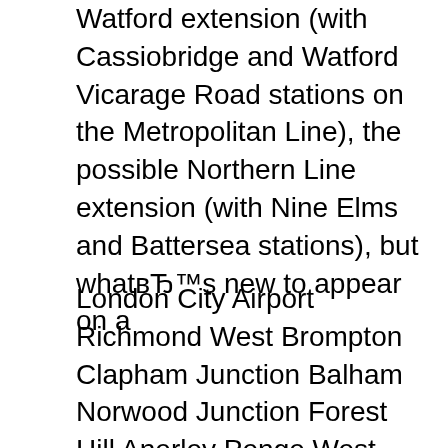Watford extension (with Cassiobridge and Watford Vicarage Road stations on the Metropolitan Line), the possible Northern Line extension (with Nine Elms and Battersea stations), but whatвЂ™s new to appear on a
London City Airport Richmond West Brompton Clapham Junction Balham Norwood Junction Forest Hill Anerley Penge West Honor Oak Park Brockley Brixton Elephant & Castle Wembley Central Harrow & Wealdstone Bushey Watford Junction Kentish Town Highbury & Islington Finsbury Park Seven Sisters Tottenham Hale Walthamstow Central Stratford Upminster Barking West Ham Limehouse Woolwich TfMAYOR OF